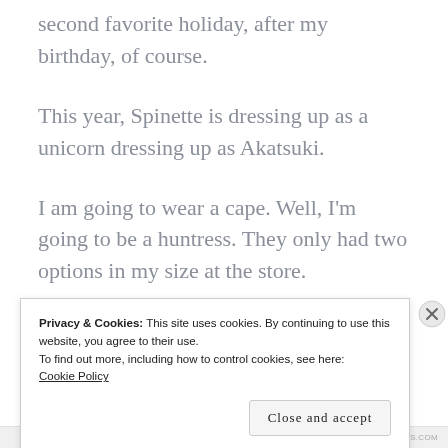second favorite holiday, after my birthday, of course.
This year, Spinette is dressing up as a unicorn dressing up as Akatsuki.
I am going to wear a cape. Well, I’m going to be a huntress. They only had two options in my size at the store.
Privacy & Cookies: This site uses cookies. By continuing to use this website, you agree to their use.
To find out more, including how to control cookies, see here: Cookie Policy
Close and accept